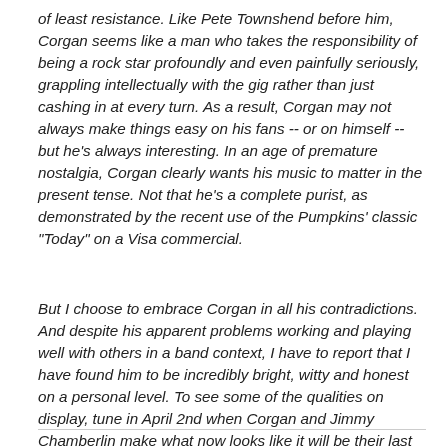of least resistance. Like Pete Townshend before him, Corgan seems like a man who takes the responsibility of being a rock star profoundly and even painfully seriously, grappling intellectually with the gig rather than just cashing in at every turn. As a result, Corgan may not always make things easy on his fans -- or on himself -- but he's always interesting. In an age of premature nostalgia, Corgan clearly wants his music to matter in the present tense. Not that he's a complete purist, as demonstrated by the recent use of the Pumpkins' classic "Today" on a Visa commercial.
But I choose to embrace Corgan in all his contradictions. And despite his apparent problems working and playing well with others in a band context, I have to report that I have found him to be incredibly bright, witty and honest on a personal level. To see some of the qualities on display, tune in April 2nd when Corgan and Jimmy Chamberlin make what now looks like it will be their last shared TV appearance with the current Pumpkins lineup on the Chris Isaak Hour, a new show on the Bio Channel that I really love even if I am a producer on it.